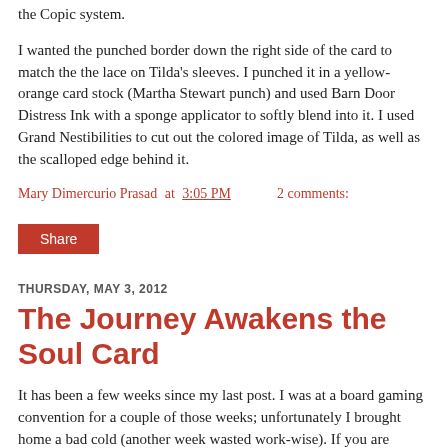the Copic system.
I wanted the punched border down the right side of the card to match the the lace on Tilda's sleeves. I punched it in a yellow-orange card stock (Martha Stewart punch) and used Barn Door Distress Ink with a sponge applicator to softly blend into it. I used Grand Nestibilities to cut out the colored image of Tilda, as well as the scalloped edge behind it.
Mary Dimercurio Prasad at 3:05 PM    2 comments:
Share
THURSDAY, MAY 3, 2012
The Journey Awakens the Soul Card
It has been a few weeks since my last post. I was at a board gaming convention for a couple of those weeks; unfortunately I brought home a bad cold (another week wasted work-wise). If you are interested, check out some of my reviews and contributions on Opinionated Gamers or